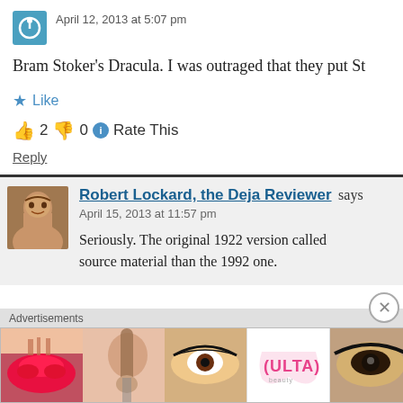April 12, 2013 at 5:07 pm
Bram Stoker's Dracula. I was outraged that they put St...
★ Like
👍 2 👎 0 ℹ Rate This
Reply
Robert Lockard, the Deja Reviewer says
April 15, 2013 at 11:57 pm
Seriously. The original 1922 version called source material than the 1992 one.
Advertisements
[Figure (photo): ULTA beauty advertisement banner with makeup/beauty images and SHOP NOW call to action]